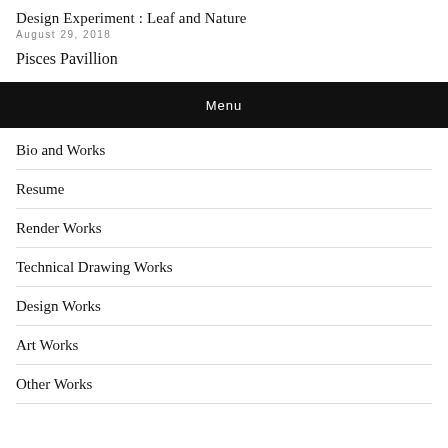Design Experiment : Leaf and Nature
August 29, 2018
Pisces Pavillion
Menu
Bio and Works
Resume
Render Works
Technical Drawing Works
Design Works
Art Works
Other Works